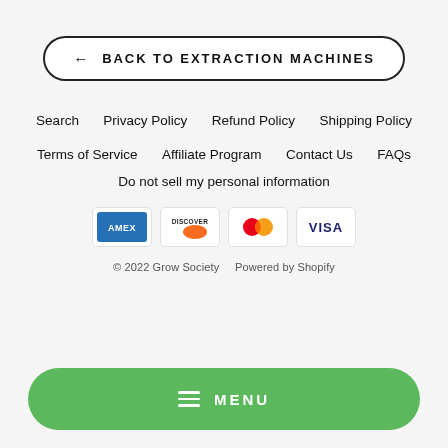← BACK TO EXTRACTION MACHINES
Search   Privacy Policy   Refund Policy   Shipping Policy
Terms of Service   Affiliate Program   Contact Us   FAQs
Do not sell my personal information
[Figure (other): Payment icons: American Express (AMEX), Discover, Mastercard, Visa]
© 2022 Grow Society   Powered by Shopify
☰ MENU